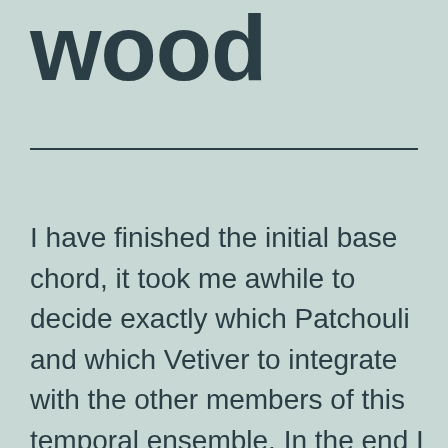wood
I have finished the initial base chord, it took me awhile to decide exactly which Patchouli and which Vetiver to integrate with the other members of this temporal ensemble. In the end I choose an Indonesian Patchouli with a lovely floral aspect to it. This floral note will later work nicely with the blossoming heart accord. The